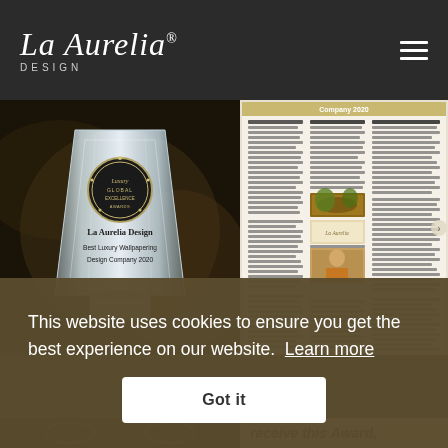La Aurelia® DESIGN
[Figure (photo): Crystal award trophy for La Aurelia Design - Best Luxury Wallpapering Design Company 2020, displayed against a dark textured background]
[Figure (screenshot): Magazine article page featuring La Aurelia Design with text columns and small images including a La Aurelia logo card and portrait photo]
This website uses cookies to ensure you get the best experience on our website.  Learn more
Got it
receive this Award,